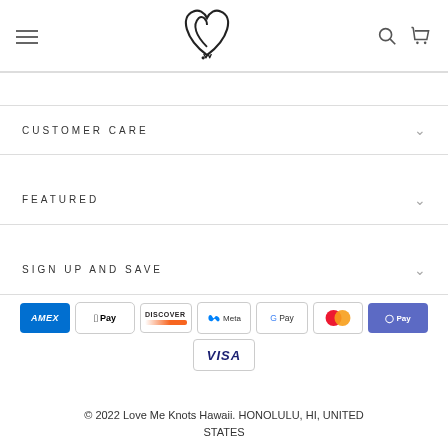Love Me Knots Hawaii — site header with hamburger menu, logo, search and cart icons
CUSTOMER CARE
FEATURED
SIGN UP AND SAVE
[Figure (other): Payment method icons: American Express, Apple Pay, Discover, Meta, Google Pay, Mastercard, ShopPay, Visa]
© 2022 Love Me Knots Hawaii. HONOLULU, HI, UNITED STATES